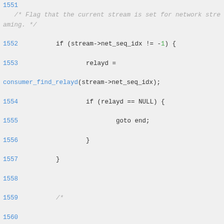Source code snippet, lines 1551-1569, C programming language with network streaming and splice pipe logic